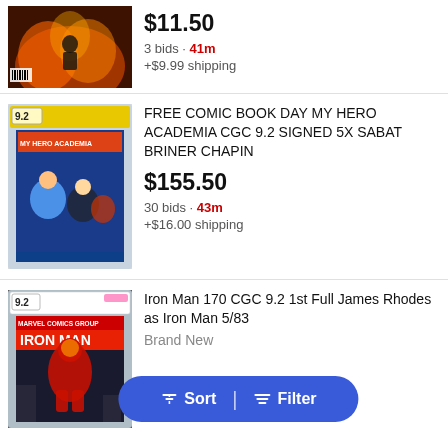[Figure (screenshot): First listing partial - comic book product image]
$11.50
3 bids · 41m
+$9.99 shipping
[Figure (screenshot): My Hero Academia CGC graded comic book product image, rated 9.2]
FREE COMIC BOOK DAY MY HERO ACADEMIA CGC 9.2 SIGNED 5X SABAT BRINER CHAPIN
$155.50
30 bids · 43m
+$16.00 shipping
[Figure (screenshot): Iron Man 170 CGC graded comic book product image, rated 9.2]
Iron Man 170 CGC 9.2 1st Full James Rhodes as Iron Man 5/83
Brand New
+$10.70 shipping